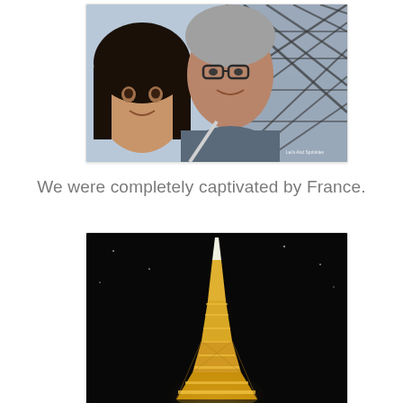[Figure (photo): Selfie of a couple (woman with dark hair on left, man with glasses on right) taken from below under the Eiffel Tower structure, visible lattice metalwork in background against light sky. Watermark text reads 'Lei's And Sprinkles' in bottom right corner.]
We were completely captivated by France.
[Figure (photo): Night photograph of the illuminated Eiffel Tower against a black sky, the tower glowing golden/yellow with lights.]